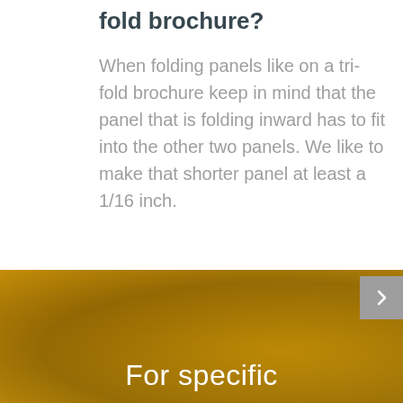fold brochure?
When folding panels like on a tri-fold brochure keep in mind that the panel that is folding inward has to fit into the other two panels. We like to make that shorter panel at least a 1/16 inch.
[Figure (illustration): Gold/amber colored decorative background section with bokeh-like lighting effects]
For specific